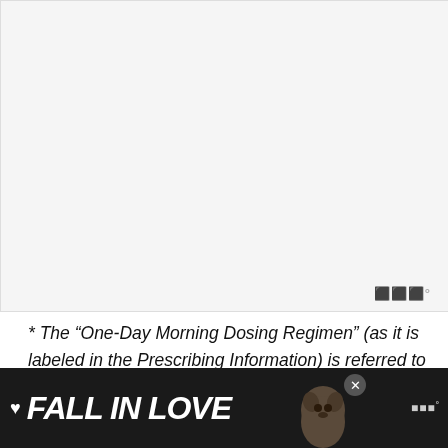[Figure (other): Large white/light gray rectangular area representing a chart or image placeholder]
* The “One-Day Morning Dosing Regimen” (as it is labeled in the Prescribing Information) is referred to as “Same-Day Morning-of-Colonoscopy Dosing.”
[Figure (other): Advertisement banner at bottom: dark background with 'FALL IN LOVE' text and dog image]